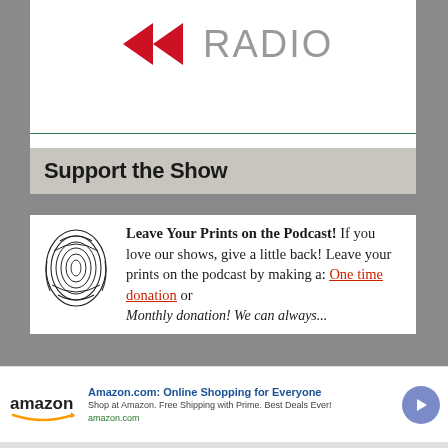[Figure (logo): Radio logo with red left-pointing arrow icons and gray RADIO text]
Support the Show
Leave Your Prints on the Podcast! If you love our shows, give a little back! Leave your prints on the podcast by making a: One time donation or Monthly donation! We can always...
[Figure (other): Amazon advertisement banner: Amazon.com: Online Shopping for Everyone. Shop at Amazon. Free Shipping with Prime. Best Deals Ever! amazon.com]